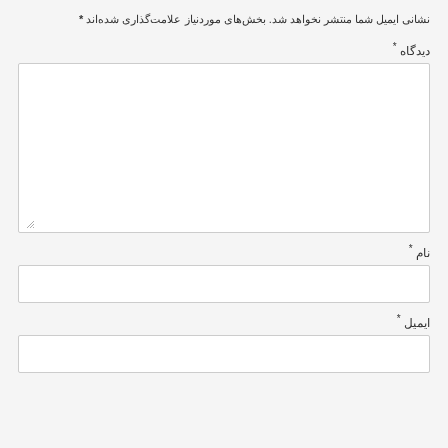نشانی ایمیل شما منتشر نخواهد شد. بخش‌های موردنیاز علامت‌گذاری شده‌اند *
دیدگاه *
[Figure (other): Large textarea input box for comment/opinion]
نام *
[Figure (other): Single line text input box for name]
ایمیل *
[Figure (other): Single line text input box for email]